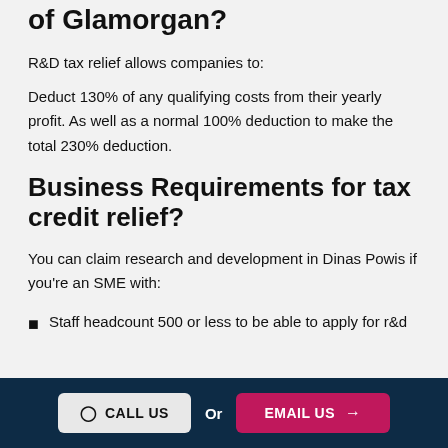How much can you claim R&D in Vale of Glamorgan?
R&D tax relief allows companies to:
Deduct 130% of any qualifying costs from their yearly profit. As well as a normal 100% deduction to make the total 230% deduction.
Business Requirements for tax credit relief?
You can claim research and development in Dinas Powis if you're an SME with:
Staff headcount 500 or less to be able to apply for r&d
CALL US   Or   EMAIL US →